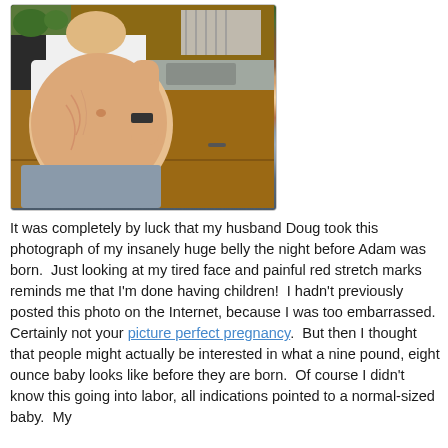[Figure (photo): A pregnant woman standing sideways in a kitchen, showing a very large belly. She is wearing a white shirt lifted up and gray pants. Kitchen cabinets and a dish rack are visible in the background.]
It was completely by luck that my husband Doug took this photograph of my insanely huge belly the night before Adam was born.  Just looking at my tired face and painful red stretch marks reminds me that I'm done having children!  I hadn't previously posted this photo on the Internet, because I was too embarrassed.  Certainly not your picture perfect pregnancy.  But then I thought that people might actually be interested in what a nine pound, eight ounce baby looks like before they are born.  Of course I didn't know this going into labor, all indications pointed to a normal-sized baby.  My